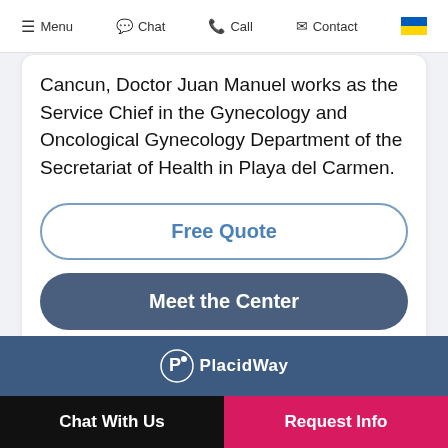Menu  Chat  Call  Contact
Cancun, Doctor Juan Manuel works as the Service Chief in the Gynecology and Oncological Gynecology Department of the Secretariat of Health in Playa del Carmen.
Free Quote
Meet the Center
[Figure (logo): PlacidWay logo in white on dark blue background]
Chat With Us   Request Info